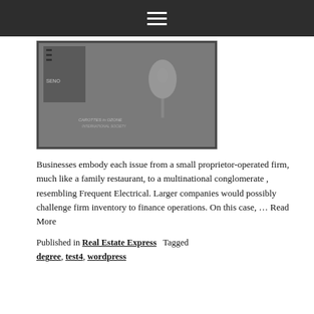☰
[Figure (photo): Black and white framed photograph or artwork with what appears to be a figure and microphone, with some text/logo visible]
Businesses embody each issue from a small proprietor-operated firm, much like a family restaurant, to a multinational conglomerate , resembling Frequent Electrical. Larger companies would possibly challenge firm inventory to finance operations. On this case, … Read More
Published in Real Estate Express   Tagged degree, test4, wordpress